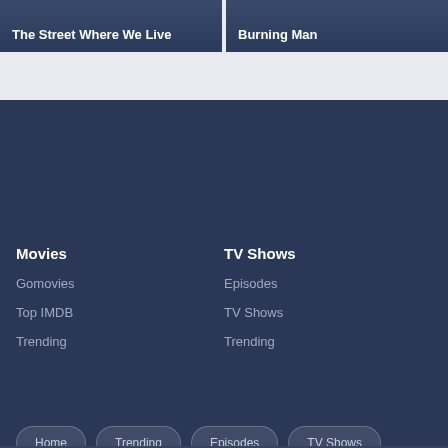[Figure (screenshot): Two dark blue movie/show cards at the top: 'The Street Where We Live' on the left and 'Burning Man' on the right]
Movies
Gomovies
Top IMDB
Trending
TV Shows
Episodes
TV Shows
Trending
Home
Trending
Episodes
TV Shows
News